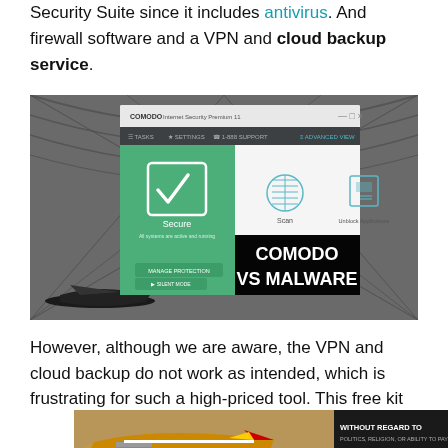Security Suite since it includes antivirus. And firewall software and a VPN and cloud backup service.
[Figure (screenshot): Screenshot of Comodo Internet Security Premium UI showing green Secure panel with checkmark, Scan and Unblock Applications buttons, overlaid on airport hangar background with 'COMODO VS MALWARE' text in bold white on black.]
However, although we are aware, the VPN and cloud backup do not work as intended, which is frustrating for such a high-priced tool. This free kit
[Figure (photo): Advertisement banner showing an airplane with 'WITHOUT REGARD TO POLITICS, RELIGION, OR ABILITY TO PAY' text.]